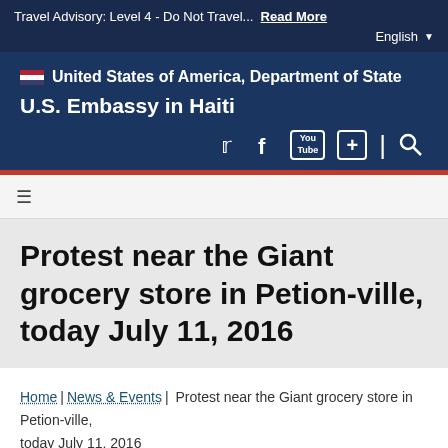Travel Advisory: Level 4 - Do Not Travel... Read More
English
United States of America, Department of State
U.S. Embassy in Haiti
Protest near the Giant grocery store in Petion-ville, today July 11, 2016
Home | News & Events | Protest near the Giant grocery store in Petion-ville, today July 11, 2016